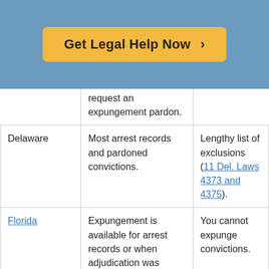[Figure (other): Call-to-action button with orange background reading 'Get Legal Help Now >' on a blue banner background]
|  | request an expungement pardon. |  |
| Delaware | Most arrest records and pardoned convictions. | Lengthy list of exclusions (11 Del. Laws 4373 and 4375). |
| Florida | Expungement is available for arrest records or when adjudication was “withheld.” | You cannot expunge convictions.

You are entitled only one expungement. |